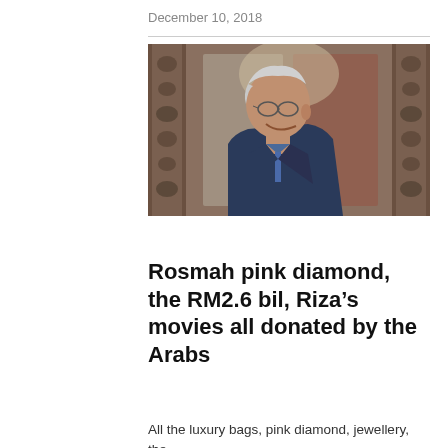December 10, 2018
[Figure (photo): Side profile of an elderly Asian man in a navy blue suit and blue tie, wearing glasses, smiling, standing in front of ornate wooden doors with silver carved frames]
Rosmah pink diamond, the RM2.6 bil, Riza’s movies all donated by the Arabs
All the luxury bags, pink diamond, jewellery, the